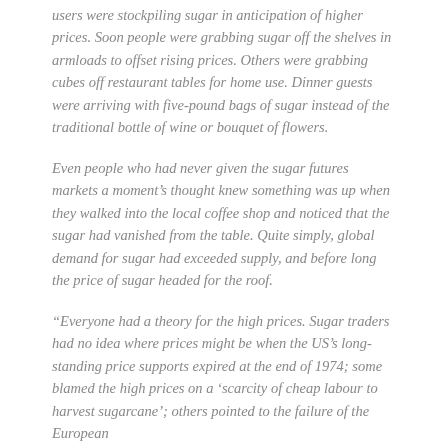users were stockpiling sugar in anticipation of higher prices. Soon people were grabbing sugar off the shelves in armloads to offset rising prices. Others were grabbing cubes off restaurant tables for home use. Dinner guests were arriving with five-pound bags of sugar instead of the traditional bottle of wine or bouquet of flowers.
Even people who had never given the sugar futures markets a moment's thought knew something was up when they walked into the local coffee shop and noticed that the sugar had vanished from the table. Quite simply, global demand for sugar had exceeded supply, and before long the price of sugar headed for the roof.
“Everyone had a theory for the high prices. Sugar traders had no idea where prices might be when the US’s long-standing price supports expired at the end of 1974; some blamed the high prices on a ‘scarcity of cheap labour to harvest sugarcane’; others pointed to the failure of the European